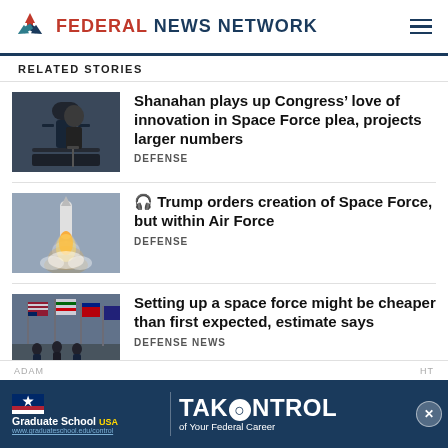FEDERAL NEWS NETWORK
RELATED STORIES
Shanahan plays up Congress’ love of innovation in Space Force plea, projects larger numbers | DEFENSE
🎧 Trump orders creation of Space Force, but within Air Force | DEFENSE
Setting up a space force might be cheaper than first expected, estimate says | DEFENSE NEWS
RELATED TOPICS
[Figure (screenshot): Advertisement banner: Graduate School USA - TAKE CONTROL of Your Federal Career]